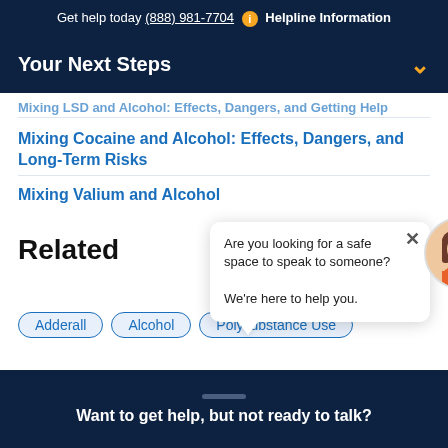Get help today (888) 981-7704  i  Helpline Information
Your Next Steps
Mixing LSD and Alcohol: Effects, Dangers, and Getting Help
Mixing Cocaine and Alcohol: Effects, Dangers, and Long-Term Risks
Mixing Valium and Alcohol
Related
[Figure (illustration): Chat bubble popup with avatar: 'Are you looking for a safe space to speak to someone? We're here to help you.' with close X button, and a female avatar illustration with brown hair and glasses.]
Adderall
Alcohol
Polysubstance Use
Want to get help, but not ready to talk?